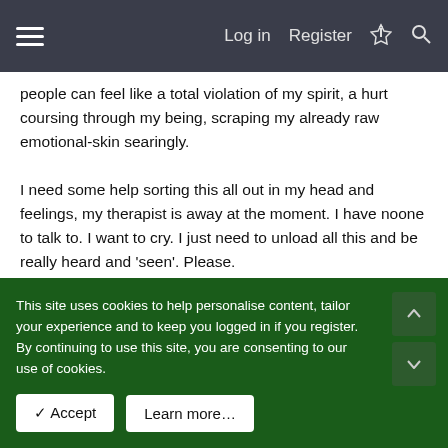Log in  Register
people can feel like a total violation of my spirit, a hurt coursing through my being, scraping my already raw emotional-skin searingly.
I need some help sorting this all out in my head and feelings, my therapist is away at the moment. I have noone to talk to. I want to cry. I just need to unload all this and be really heard and 'seen'. Please.
David Baxter
Administrator
This site uses cookies to help personalise content, tailor your experience and to keep you logged in if you register.
By continuing to use this site, you are consenting to our use of cookies.
✓ Accept    Learn more…